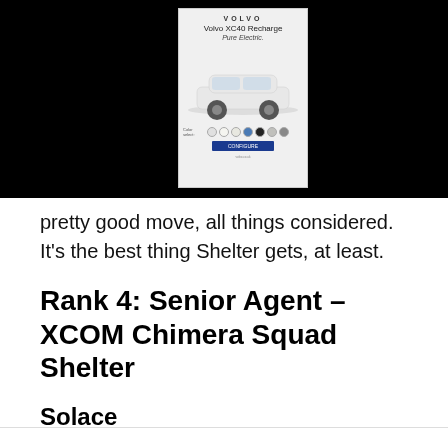[Figure (screenshot): Volvo XC40 Recharge Pure Electric advertisement banner showing the car with color options and a dark call-to-action button]
pretty good move, all things considered. It's the best thing Shelter gets, at least.
Rank 4: Senior Agent – XCOM Chimera Squad Shelter
Solace